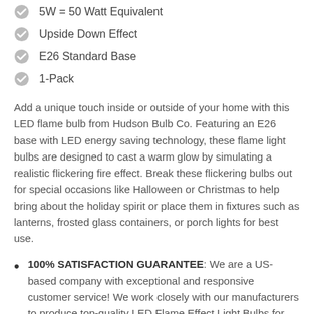5W = 50 Watt Equivalent
Upside Down Effect
E26 Standard Base
1-Pack
Add a unique touch inside or outside of your home with this LED flame bulb from Hudson Bulb Co. Featuring an E26 base with LED energy saving technology, these flame light bulbs are designed to cast a warm glow by simulating a realistic flickering fire effect. Break these flickering bulbs out for special occasions like Halloween or Christmas to help bring about the holiday spirit or place them in fixtures such as lanterns, frosted glass containers, or porch lights for best use.
100% SATISFACTION GUARANTEE: We are a US-based company with exceptional and responsive customer service! We work closely with our manufacturers to produce top-quality LED Flame Effect Light Bulbs for our